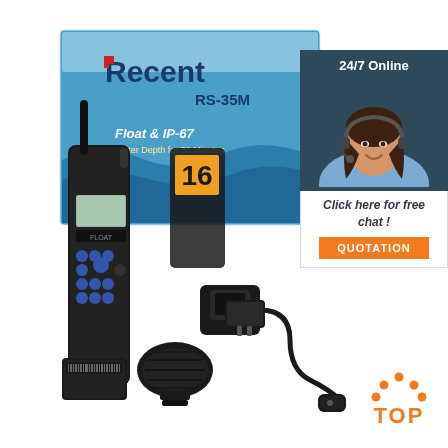[Figure (photo): Product photo of Recent RS-35M marine VHF handheld radio with box, charger cradle, speaker microphone, and accessories laid out on white background. The box shows 'Recent RS-35M Float & IP-67' branding with ocean imagery.]
[Figure (photo): Customer service agent photo: smiling woman with dark hair wearing a headset, on dark teal/slate background. Below her: '24/7 Online' text at top, 'Click here for free chat!' text, and orange 'QUOTATION' button.]
24/7 Online
Click here for free chat !
QUOTATION
[Figure (logo): Orange 'TOP' logo with decorative dots/circles arranged above the word TOP in orange bold text.]